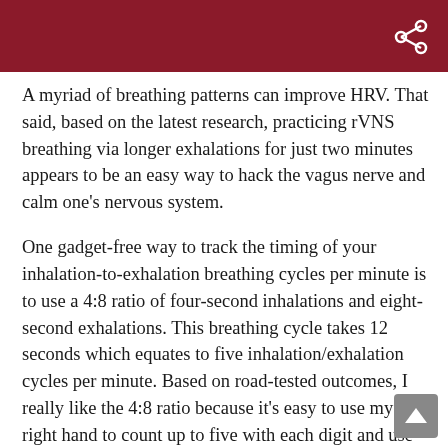A myriad of breathing patterns can improve HRV. That said, based on the latest research, practicing rVNS breathing via longer exhalations for just two minutes appears to be an easy way to hack the vagus nerve and calm one’s nervous system.
One gadget-free way to track the timing of your inhalation-to-exhalation breathing cycles per minute is to use a 4:8 ratio of four-second inhalations and eight-second exhalations. This breathing cycle takes 12 seconds which equates to five inhalation/exhalation cycles per minute. Based on road-tested outcomes, I really like the 4:8 ratio because it’s easy to use my right hand to count up to five with each digit and use the fingers on my left hand like an abacus to keep track of each one-minute cycle.